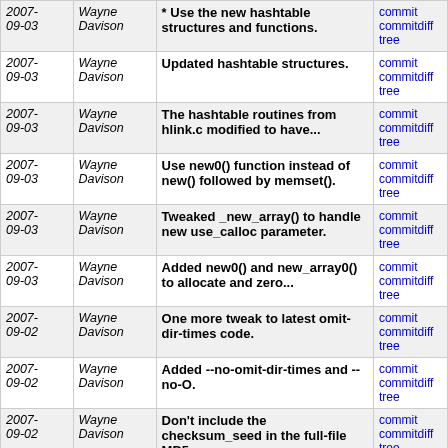| Date | Author | Message | Links |
| --- | --- | --- | --- |
| 2007-09-03 | Wayne Davison | * Use the new hashtable structures and functions. | commit | commitdiff | tree |
| 2007-09-03 | Wayne Davison | Updated hashtable structures. | commit | commitdiff | tree |
| 2007-09-03 | Wayne Davison | The hashtable routines from hlink.c modified to have... | commit | commitdiff | tree |
| 2007-09-03 | Wayne Davison | Use new0() function instead of new() followed by memset(). | commit | commitdiff | tree |
| 2007-09-03 | Wayne Davison | Tweaked _new_array() to handle new use_calloc parameter. | commit | commitdiff | tree |
| 2007-09-03 | Wayne Davison | Added new0() and new_array0() to allocate and zero... | commit | commitdiff | tree |
| 2007-09-02 | Wayne Davison | One more tweak to latest omit-dir-times code. | commit | commitdiff | tree |
| 2007-09-02 | Wayne Davison | Added --no-omit-dir-times and --no-O. | commit | commitdiff | tree |
| 2007-09-02 | Wayne Davison | Don't include the checksum_seed in the full-file MD5... | commit | commitdiff | tree |
| 2007-09-02 | Wayne Davison | Bump up the SUBPROTOCOL_VERSION number. | commit | commitdiff | tree |
| 2007-09-01 | Wayne Davison | Made omit_dir_times a static variable in options.c... | commit | commitdiff | tree |
| 2007-09-01 | Wayne Davison | Document the new --append and --append-verify options. | commit | commitdiff | tree |
| 2007-09-01 | Wayne Davison | Downgrade the new --append option to --append-verify... | commit | commitdiff | tree |
| 2007- | Wayne Davison | Handle the new --append and -- | commit | |